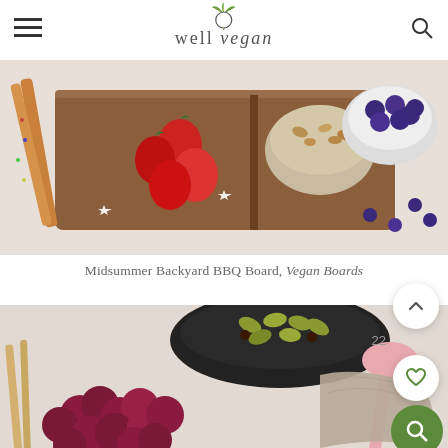well vegan (logo with hamburger menu and search icon)
[Figure (photo): Top-down view of a midsummer backyard BBQ vegan charcuterie board with strawberries, blueberries, star-shaped items, pretzels, and crackers on a wooden board.]
Midsummer Backyard BBQ Board, Vegan Boards
[Figure (photo): Top-down view of a vegan board with red grapes, pistachios in a black bowl, breadsticks, and a pink spoon with linen napkin.]